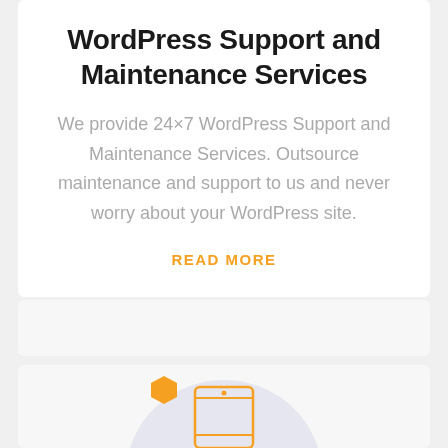WordPress Support and Maintenance Services
We provide 24×7 WordPress Support and Maintenance Services. Outsource maintenance and support to us and never worry about your WordPress site.
READ MORE
[Figure (illustration): Orange hexagon decorative icon above a smartphone illustration on a light purple circular background]